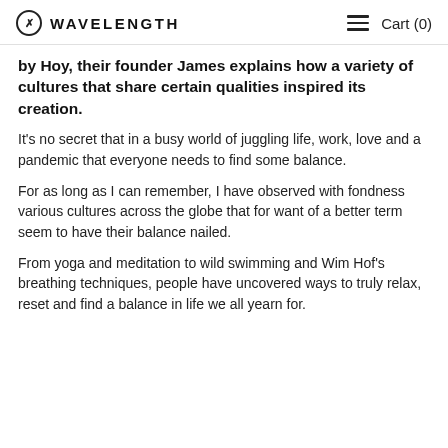WAVELENGTH   Cart (0)
by Hoy, their founder James explains how a variety of cultures that share certain qualities inspired its creation.
It's no secret that in a busy world of juggling life, work, love and a pandemic that everyone needs to find some balance.
For as long as I can remember, I have observed with fondness various cultures across the globe that for want of a better term seem to have their balance nailed.
From yoga and meditation to wild swimming and Wim Hof's breathing techniques, people have uncovered ways to truly relax, reset and find a balance in life we all yearn for.